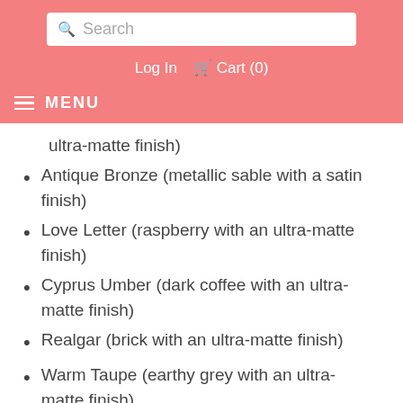Search  Log In  Cart (0)  MENU
ultra-matte finish)
Antique Bronze (metallic sable with a satin finish)
Love Letter (raspberry with an ultra-matte finish)
Cyprus Umber (dark coffee with an ultra-matte finish)
Realgar (brick with an ultra-matte finish)
Warm Taupe (earthy grey with an ultra-matte finish)